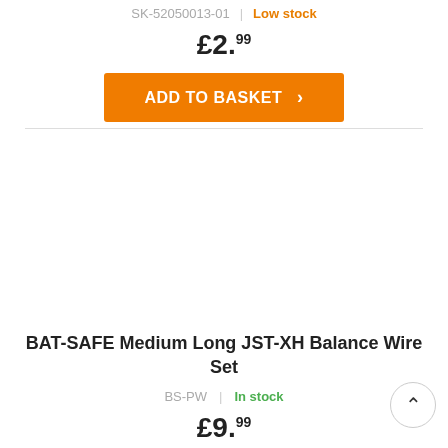SK-52050013-01 | Low stock
£2.99
ADD TO BASKET
BAT-SAFE Medium Long JST-XH Balance Wire Set
BS-PW | In stock
£9.99